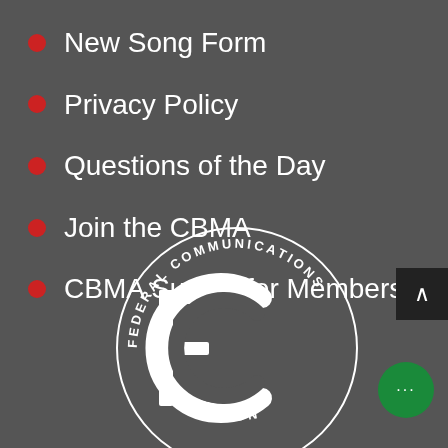New Song Form
Privacy Policy
Questions of the Day
Join the CBMA
CBMA Survey for Members
[Figure (logo): FCC Federal Communications Commission circular logo in white on dark grey background]